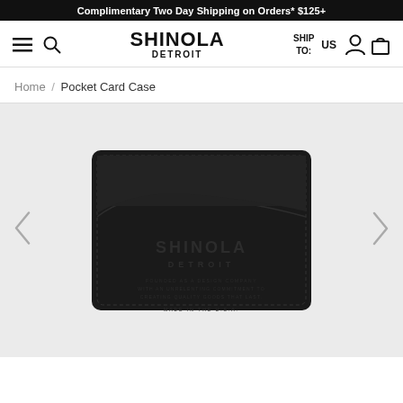Complimentary Two Day Shipping on Orders* $125+
[Figure (screenshot): Shinola Detroit website navigation bar with hamburger menu, search icon, Shinola Detroit logo, Ship To: US selector, person icon, and bag icon]
Home / Pocket Card Case
[Figure (photo): Shinola Detroit black leather pocket card case wallet shown from the front, with card slots at top, Shinola Detroit embossed logo and text on lower portion, with left and right carousel navigation arrows]